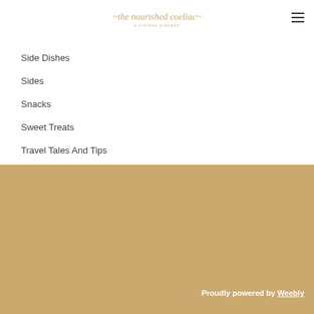the nourished coeliac — a coeliac journey
Side Dishes
Sides
Snacks
Sweet Treats
Travel Tales And Tips
Proudly powered by Weebly